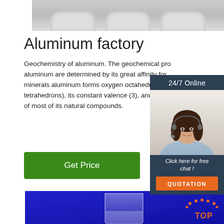[Figure (photo): Top portion of page showing ceramic or aluminum industrial containers/trays in grey tones]
Aluminum factory
Geochemistry of aluminum. The geochemical properties of aluminum are determined by its great affinity for minerals aluminum forms oxygen octahedrons and tetrahedrons), its constant valence (3), and the wide distribution of most of its natural compounds.
[Figure (screenshot): 24/7 Online customer service chat widget showing a female customer service representative with headset, with 'Click here for free chat!' text and an orange QUOTATION button]
[Figure (illustration): Button labeled Get Price in green]
[Figure (photo): Bottom photo showing a glass beaker with white liquid/powder on a blue industrial surface, with orange TOP logo in bottom right]